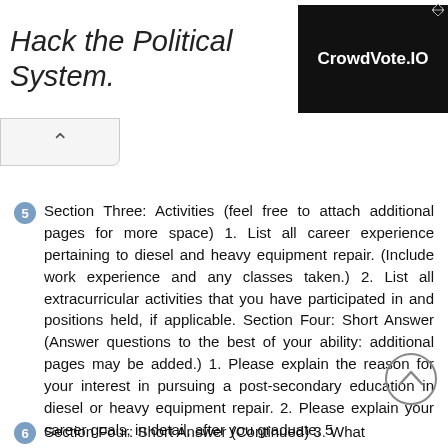[Figure (other): Advertisement banner: 'Hack the Political System.' on left, 'CrowdVote.IO' on black background on right]
Section Three: Activities (feel free to attach additional pages for more space) 1. List all career experience pertaining to diesel and heavy equipment repair. (Include work experience and any classes taken.) 2. List all extracurricular activities that you have participated in and positions held, if applicable. Section Four: Short Answer (Answer questions to the best of your ability: additional pages may be added.) 1. Please explain the reason for your interest in pursuing a post-secondary education in diesel or heavy equipment repair. 2. Please explain your career goals, in detail, after you graduate. 5
Section Four: Short Answer (Continued) 3. What